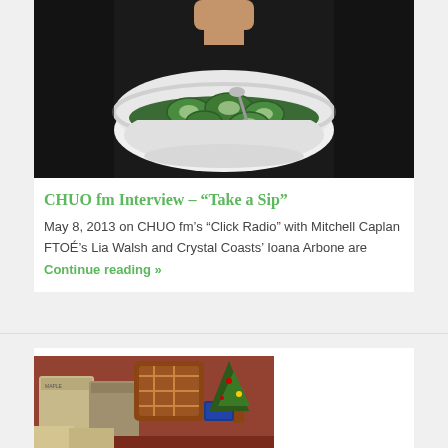[Figure (photo): A white bowl filled with sliced cucumbers, held by hands in a dark background]
CHUO fm Interview – “Take a Sip”
May 8, 2013 on CHUO fm’s “Click Radio” with Mitchell Caplan FTOÉ’s Lia Walsh and Crystal Coasts’ Ioana Arbone are Continue reading »
[Figure (photo): A table with bags, pillows, and various items arranged on a decorated surface]